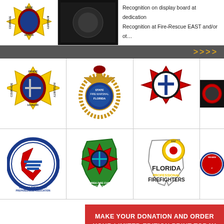[Figure (logo): Partial view of top row with two logos and text: 'Recognition on display board at dedication' and 'Recognition at Fire-Rescue EAST and/or ot...']
Recognition on display board at dedication
Recognition at Fire-Rescue EAST and/or ot...
[Figure (infographic): Dark gray banner with yellow arrow symbols pointing right (>>>>)]
[Figure (logo): Grid of organization logos row 1: Florida fire department maltese cross badge (yellow, red, blue), State Fire Marshal Florida badge (gold/blue), Florida Fire & Emergency Services Foundation seal (red/black), partial fourth logo]
[Figure (logo): Grid of organization logos row 2: Florida Emergency Preparedness Association circular logo (blue/red), Florida Fire Chiefs Association badge (red/teal on Florida outline), Florida Firefighters FPF logo (yellow/red), partial Florida Fire Marshal logo]
MAKE YOUR DONATION AND ORDER YOUR LIMITED EDITION PRINT TODAY
"...OFFICIAL ORGANIZATION AND FINAL SALE..."